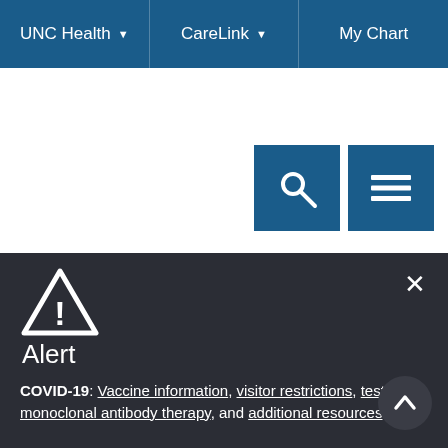UNC Health ▾   CareLink ▾   My Chart
[Figure (screenshot): Search icon button (magnifying glass) and hamburger menu icon button, both dark blue squares]
Alert
COVID-19: Vaccine information, visitor restrictions, testing, monoclonal antibody therapy, and additional resources